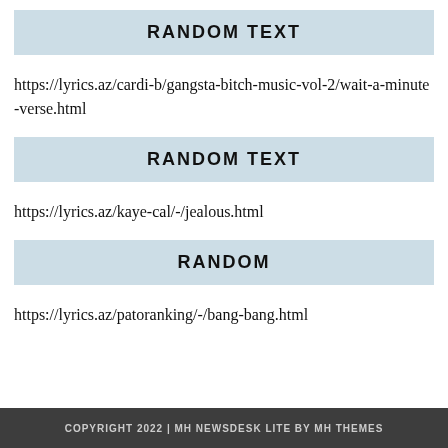RANDOM TEXT
https://lyrics.az/cardi-b/gangsta-bitch-music-vol-2/wait-a-minute-verse.html
RANDOM TEXT
https://lyrics.az/kaye-cal/-/jealous.html
RANDOM
https://lyrics.az/patoranking/-/bang-bang.html
COPYRIGHT 2022 | MH NEWSDESK LITE BY MH THEMES